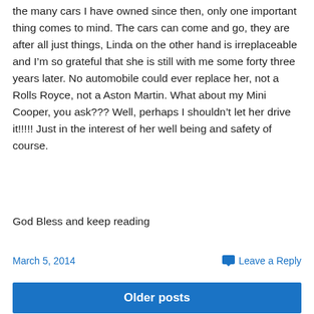the many cars I have owned since then, only one important thing comes to mind. The cars can come and go, they are after all just things, Linda on the other hand is irreplaceable and I’m so grateful that she is still with me some forty three years later. No automobile could ever replace her, not a Rolls Royce, not a Aston Martin. What about my Mini Cooper, you ask??? Well, perhaps I shouldn’t let her drive it!!!!! Just in the interest of her well being and safety of course.
God Bless and keep reading
March 5, 2014
Leave a Reply
Older posts